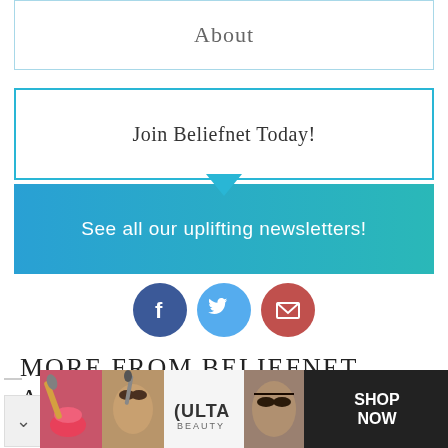About
Join Beliefnet Today!
See all our uplifting newsletters!
[Figure (infographic): Three social media icons: Facebook (blue circle), Twitter (light blue circle), Email/envelope (red circle)]
MORE FROM BELIEFNET AND OUR PARTNERS
[Figure (photo): ULTA beauty advertisement banner showing makeup/beauty photos and 'SHOP NOW' call to action]